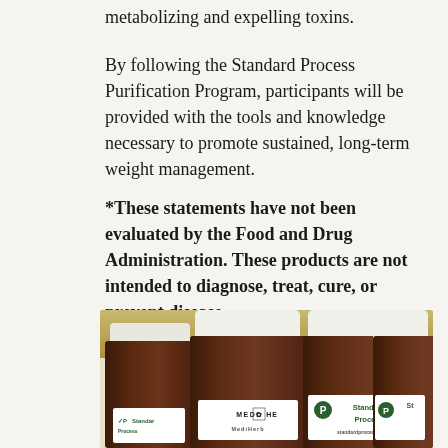metabolizing and expelling toxins.
By following the Standard Process Purification Program, participants will be provided with the tools and knowledge necessary to promote sustained, long-term weight management.
*These statements have not been evaluated by the Food and Drug Administration. These products are not intended to diagnose, treat, cure, or prevent disease.
[Figure (photo): Photo of multiple amber supplement bottles with white caps from Standard Process and MediHerb brands, viewed from slightly above, showing labels including 'Standard Process' and 'MEDIHERB' logos.]